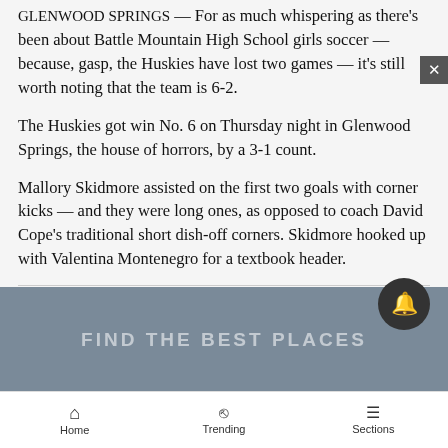GLENWOOD SPRINGS — For as much whispering as there's been about Battle Mountain High School girls soccer — because, gasp, the Huskies have lost two games — it's still worth noting that the team is 6-2.
The Huskies got win No. 6 on Thursday night in Glenwood Springs, the house of horrors, by a 3-1 count.
Mallory Skidmore assisted on the first two goals with corner kicks — and they were long ones, as opposed to coach David Cope's traditional short dish-off corners. Skidmore hooked up with Valentina Montenegro for a textbook header.
[Figure (other): Advertisement banner with text 'FIND THE BEST PLACES' on a dark blue-grey background, with a close button and notification bell button overlay]
Home   Trending   Sections